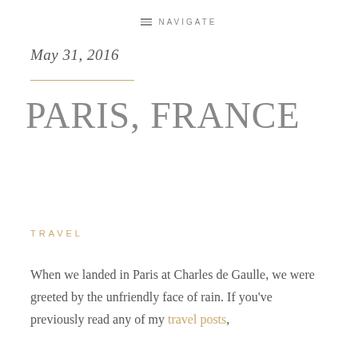NAVIGATE
May 31, 2016
PARIS, FRANCE
TRAVEL
When we landed in Paris at Charles de Gaulle, we were greeted by the unfriendly face of rain. If you've previously read any of my travel posts,